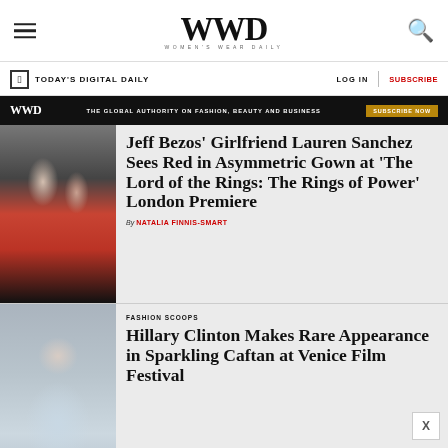WWD — WOMEN'S WEAR DAILY
TODAY'S DIGITAL DAILY    LOG IN    SUBSCRIBE
WWD — THE GLOBAL AUTHORITY ON FASHION, BEAUTY AND BUSINESS — SUBSCRIBE NOW
[Figure (photo): Jeff Bezos and Lauren Sanchez at event; man in black suit and woman in red one-shoulder gown]
Jeff Bezos' Girlfriend Lauren Sanchez Sees Red in Asymmetric Gown at 'The Lord of the Rings: The Rings of Power' London Premiere
By NATALIA FINNIS-SMART
[Figure (photo): Hillary Clinton in light blue caftan, smiling and gesturing at Venice Film Festival]
FASHION SCOOPS
Hillary Clinton Makes Rare Appearance in Sparkling Caftan at Venice Film Festival